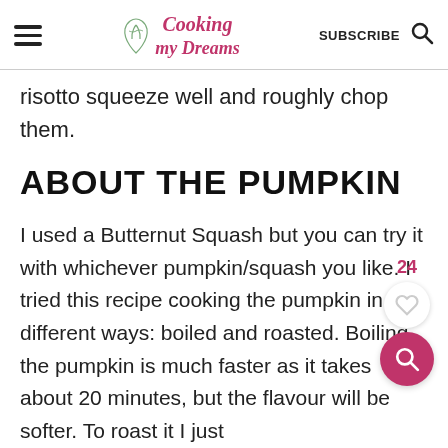Cooking my Dreams — SUBSCRIBE
risotto squeeze well and roughly chop them.
ABOUT THE PUMPKIN
I used a Butternut Squash but you can try it with whichever pumpkin/squash you like. I tried this recipe cooking the pumpkin in 2 different ways: boiled and roasted. Boiling the pumpkin is much faster as it takes about 20 minutes, but the flavour will be softer. To roast it I just